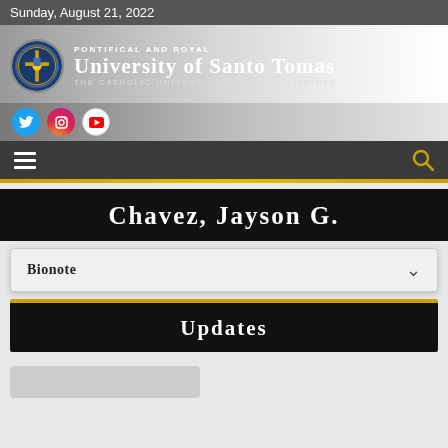Sunday, August 21, 2022
[Figure (logo): University of Santo Tomas seal/logo and header with social media icons and navigation bar]
CHAVEZ, JAYSON G.
BIONOTE
UPDATES